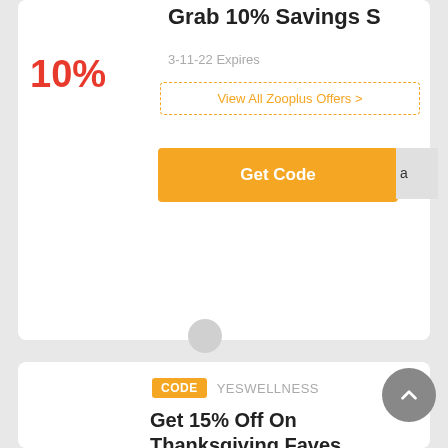Grab 10% Savings S
3-11-22 Expires
10%
View All Zooplus Offers >
Get Code  a
CODE  YESWELLNESS
Get 15% Off On Thanksgiving Faves
15%
3-12-22 Expires
View All YesWellness Offers >
Get Code  p
DEAL  PETBARN